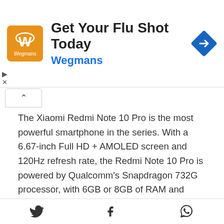[Figure (infographic): Advertisement banner for Wegmans flu shot. Orange square logo on left, large text 'Get Your Flu Shot Today' with 'Wegmans' in blue below, blue navigation arrow diamond icon on right.]
The Xiaomi Redmi Note 10 Pro is the most powerful smartphone in the series. With a 6.67-inch Full HD + AMOLED screen and 120Hz refresh rate, the Redmi Note 10 Pro is powered by Qualcomm's Snapdragon 732G processor, with 6GB or 8GB of RAM and 64GB or 128GB of expandable internal storage. The rear camera of the Redmi Note 10 Pro consists of four 108 MP, 8 MP, 5 MP, and 2 MP lenses, while the selfie camera is 16 MP. Power is provided by a 5020mAh fast-charging battery, which gives it a battery life of around 26 hours, has stereo speakers, a side fingerprint reader, and runs Android 11
[Figure (infographic): Social share bar with Twitter bird icon, Facebook f icon, and WhatsApp phone icon]